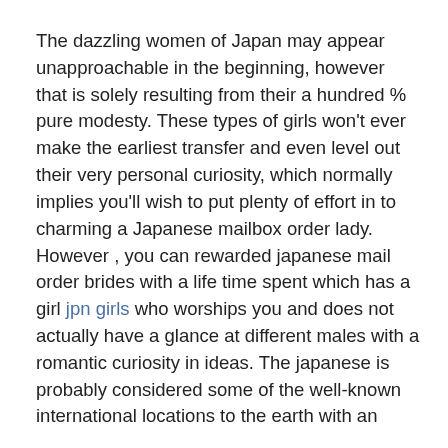The dazzling women of Japan may appear unapproachable in the beginning, however that is solely resulting from their a hundred % pure modesty. These types of girls won't ever make the earliest transfer and even level out their very personal curiosity, which normally implies you'll wish to put plenty of effort in to charming a Japanese mailbox order lady. However , you can rewarded japanese mail order brides with a life time spent which has a girl jpn girls who worships you and does not actually have a glance at different males with a romantic curiosity in ideas. The japanese is probably considered some of the well-known international locations to the earth with an interesting custom and quite lots of financial and technological magic. Disney weddings the spot you pay out an extra twelve man to amass Mickey look for photographs?
They usually contain large custom nice shock, fights with in-laws, racism from the residents, and sometimes divorce. Called okurumada, it is customary in Japan for the couple to pay a